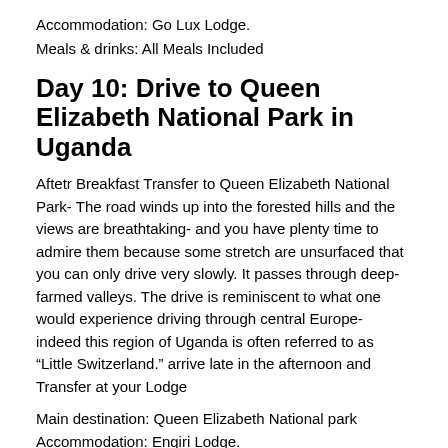Accommodation: Go Lux Lodge.
Meals & drinks: All Meals Included
Day 10: Drive to Queen Elizabeth National Park in Uganda
Aftetr Breakfast Transfer to Queen Elizabeth National Park- The road winds up into the forested hills and the views are breathtaking- and you have plenty time to admire them because some stretch are unsurfaced that you can only drive very slowly. It passes through deep-farmed valleys. The drive is reminiscent to what one would experience driving through central Europe- indeed this region of Uganda is often referred to as “Little Switzerland.” arrive late in the afternoon and Transfer at your Lodge
Main destination: Queen Elizabeth National park
Accommodation: Engiri Lodge.
Meals & drinks: All Meals Included
Day 11: Queen Elizabeth- Game drive- Boat Safari- chimpanzee tracking- Game drive